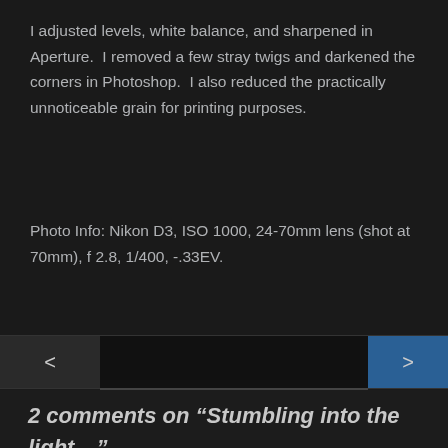I adjusted levels, white balance, and sharpened in Aperture.  I removed a few stray twigs and darkened the corners in Photoshop.  I also reduced the practically unnoticeable grain for printing purposes.
Photo Info: Nikon D3, ISO 1000, 24-70mm lens (shot at 70mm), f 2.8, 1/400, -.33EV.
2 comments on “Stumbling into the light…”